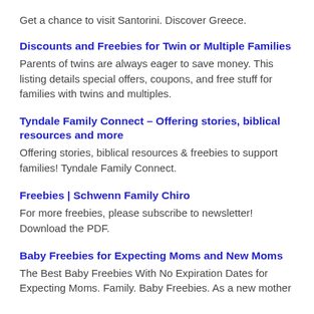Get a chance to visit Santorini. Discover Greece.
Discounts and Freebies for Twin or Multiple Families
Parents of twins are always eager to save money. This listing details special offers, coupons, and free stuff for families with twins and multiples.
Tyndale Family Connect – Offering stories, biblical resources and more
Offering stories, biblical resources & freebies to support families! Tyndale Family Connect.
Freebies | Schwenn Family Chiro
For more freebies, please subscribe to newsletter! Download the PDF.
Baby Freebies for Expecting Moms and New Moms
The Best Baby Freebies With No Expiration Dates for Expecting Moms. Family. Baby Freebies. As a new mother